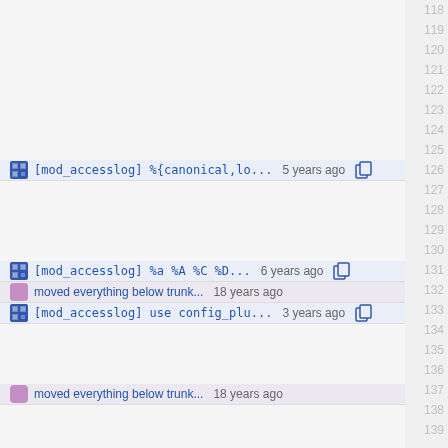126: [mod_accesslog] %{canonical,lo... 5 years ago
131: [mod_accesslog] %a %A %C %D... 6 years ago
132: moved everything below trunk... 18 years ago
133: [mod_accesslog] use config_plu... 3 years ago
137: moved everything below trunk... 18 years ago